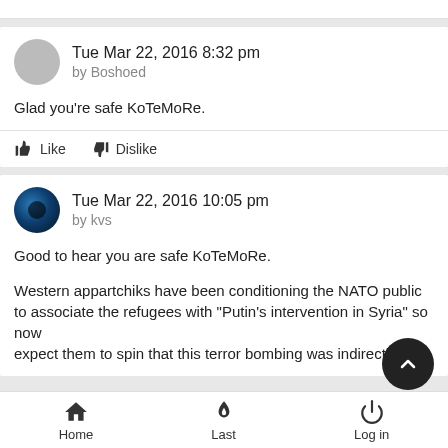Tue Mar 22, 2016 8:32 pm by Boshoed
Glad you're safe KoTeMoRe.
Like  Dislike
Tue Mar 22, 2016 10:05 pm by kvs
Good to hear you are safe KoTeMoRe.

Western appartchiks have been conditioning the NATO public to associate the refugees with "Putin's intervention in Syria" so now expect them to spin that this terror bombing was indirectly his